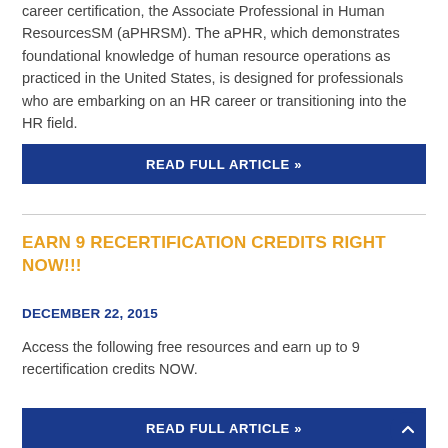career certification, the Associate Professional in Human ResourcesSM (aPHRSM). The aPHR, which demonstrates foundational knowledge of human resource operations as practiced in the United States, is designed for professionals who are embarking on an HR career or transitioning into the HR field.
READ FULL ARTICLE »
EARN 9 RECERTIFICATION CREDITS RIGHT NOW!!!
DECEMBER 22, 2015
Access the following free resources and earn up to 9 recertification credits NOW.
READ FULL ARTICLE »